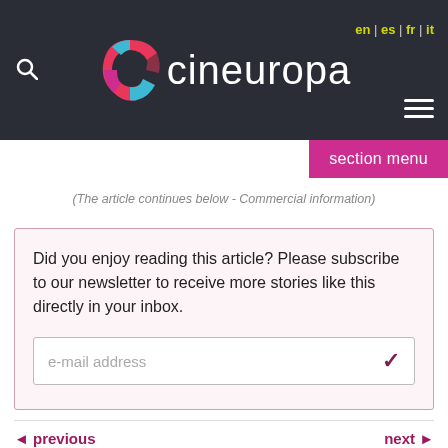[Figure (logo): Cineuropa website header with logo (stylized C in pink/blue/red and 'cineuropa' text in white), search icon, language switcher (en|es|fr|it), and hamburger menu on dark background]
[Figure (screenshot): Pink 'section menu' button in top right]
(The article continues below - Commercial information)
Did you enjoy reading this article? Please subscribe to our newsletter to receive more stories like this directly in your inbox.
e-mail address
◄ previous
next ►